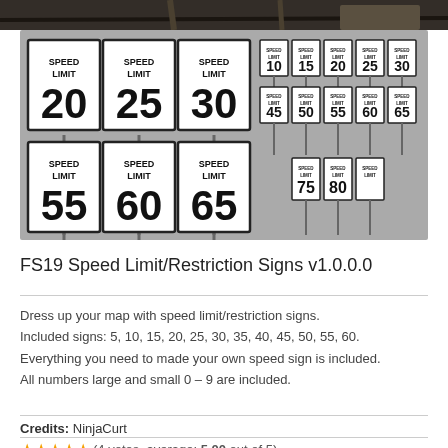[Figure (photo): Dark photo strip at top showing wooden posts or barn]
[Figure (photo): Collection of US speed limit signs showing values 10, 15, 20, 25, 30, 45, 50, 55, 60, 65, 75, 80 on gray background]
FS19 Speed Limit/Restriction Signs v1.0.0.0
Dress up your map with speed limit/restriction signs. Included signs: 5, 10, 15, 20, 25, 30, 35, 40, 45, 50, 55, 60. Everything you need to made your own speed sign is included. All numbers large and small 0 – 9 are included.
Credits: NinjaCurt
(4 votes, average: 5.00 out of 5)